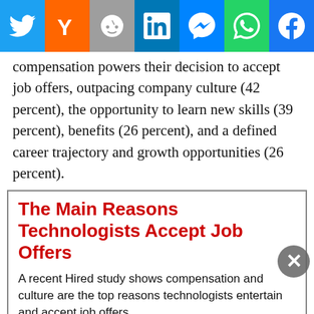[Figure (other): Social sharing bar with icons for Twitter, Hacker News (Y), Reddit, LinkedIn, Messenger, WhatsApp, Facebook]
compensation powers their decision to accept job offers, outpacing company culture (42 percent), the opportunity to learn new skills (39 percent), benefits (26 percent), and a defined career trajectory and growth opportunities (26 percent).
The Main Reasons Technologists Accept Job Offers
A recent Hired study shows compensation and culture are the top reasons technologists entertain and accept job offers.
| Category | Value |
| --- | --- |
| Compensation | 53 |
| Culture | 42 |
| Learning Skills | 39 |